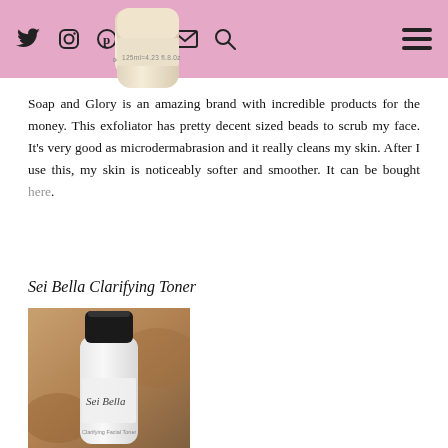Navigation bar with social icons: Twitter, Instagram, Pinterest, Facebook, Email, Search, and hamburger menu
[Figure (photo): Partial view of a Soap and Glory facial exfoliator cream tube product]
Soap and Glory is an amazing brand with incredible products for the money. This exfoliator has pretty decent sized beads to scrub my face. It's very good as microdermabrasion and it really cleans my skin. After I use this, my skin is noticeably softer and smoother. It can be bought here.
Sei Bella Clarifying Toner
[Figure (photo): Sei Bella Clarifying Facial Toner white bottle with black cap on a blurred earthy background]